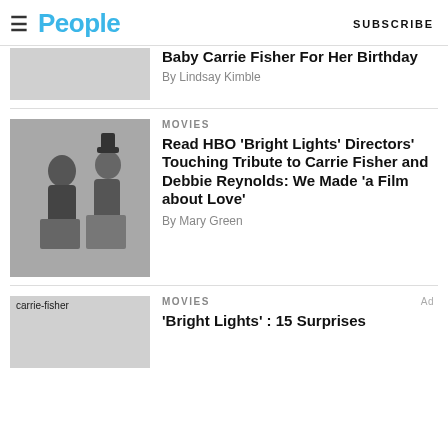People — SUBSCRIBE
[Figure (photo): Gray placeholder thumbnail for first article (partially cropped)]
Baby Carrie Fisher For Her Birthday
By Lindsay Kimble
[Figure (photo): Black and white photo of two performers, one wearing a top hat]
MOVIES
Read HBO 'Bright Lights' Directors' Touching Tribute to Carrie Fisher and Debbie Reynolds: We Made 'a Film about Love'
By Mary Green
MOVIES
'Bright Lights' : 15 Surprises